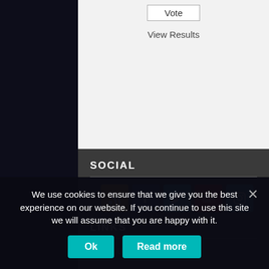Vote
View Results
SOCIAL
[Figure (screenshot): Row of five social media icon buttons: RSS (gold), Facebook (blue), Twitter (light blue), YouTube (red), Instagram (teal/blue)]
LINKS
About Us
We use cookies to ensure that we give you the best experience on our website. If you continue to use this site we will assume that you are happy with it.
Ok
Read more